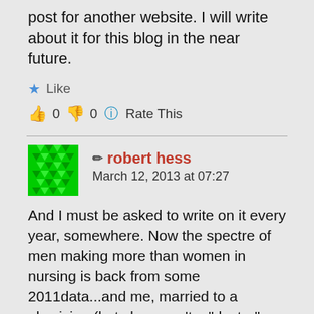post for another website. I will write about it for this blog in the near future.
Like
👍 0 👎 0 ℹ Rate This
robert hess
March 12, 2013 at 07:27
And I must be asked to write on it every year, somewhere. Now the spectre of men making more than women in nursing is back from some 2011data...and me, married to a physician (but she wasn't a "doctor" wen I married her, just to be clear).
Dr. Nurse Bob